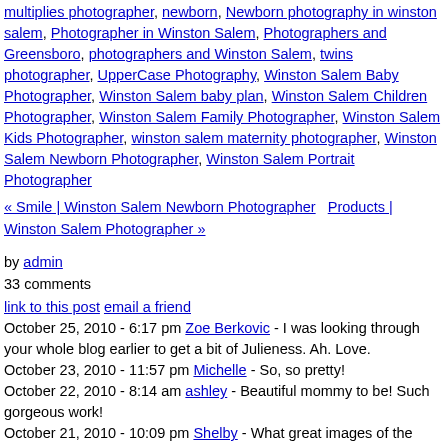multiplies photographer, newborn, Newborn photography in winston salem, Photographer in Winston Salem, Photographers and Greensboro, photographers and Winston Salem, twins photographer, UpperCase Photography, Winston Salem Baby Photographer, Winston Salem baby plan, Winston Salem Children Photographer, Winston Salem Family Photographer, Winston Salem Kids Photographer, winston salem maternity photographer, Winston Salem Newborn Photographer, Winston Salem Portrait Photographer
« Smile | Winston Salem Newborn Photographer   Products | Winston Salem Photographer »
by admin
33 comments
link to this post  email a friend
October 25, 2010 - 6:17 pm Zoe Berkovic - I was looking through your whole blog earlier to get a bit of Julieness. Ah. Love.
October 23, 2010 - 11:57 pm Michelle - So, so pretty!
October 22, 2010 - 8:14 am ashley - Beautiful mommy to be! Such gorgeous work!
October 21, 2010 - 10:09 pm Shelby - What great images of the beautiful mama!
October 21, 2010 - 12:45 pm natalie lawson - what a gorgeous mama! and the photos are to die for!
October 21, 2010 - 9:18 am Fabiana Beatriz - I have to agree that the walk to the field was worth it. These are gorgeous. What a gift you have to be able to capture these moments and present your clients with a one of a kind print.
October 20, 2010 - 5:17 pm Liz - So, so pretty! These are amazing!